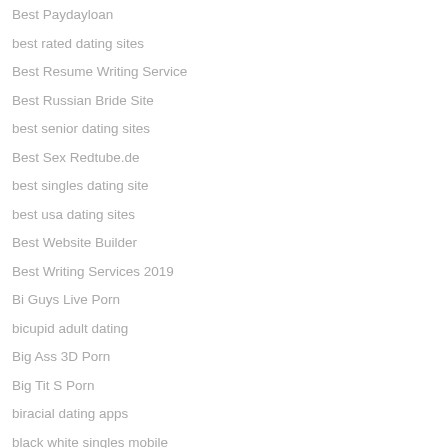Best Paydayloan
best rated dating sites
Best Resume Writing Service
Best Russian Bride Site
best senior dating sites
Best Sex Redtube.de
best singles dating site
best usa dating sites
Best Website Builder
Best Writing Services 2019
Bi Guys Live Porn
bicupid adult dating
Big Ass 3D Porn
Big Tit S Porn
biracial dating apps
black white singles mobile
blackcupid reddit